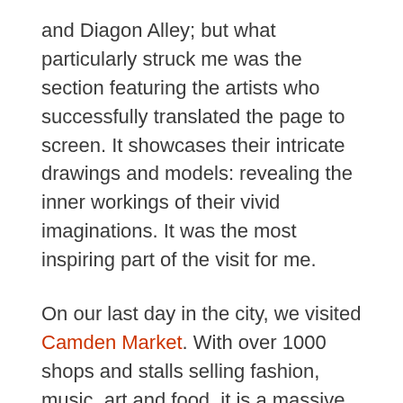and Diagon Alley; but what particularly struck me was the section featuring the artists who successfully translated the page to screen. It showcases their intricate drawings and models: revealing the inner workings of their vivid imaginations. It was the most inspiring part of the visit for me.
On our last day in the city, we visited Camden Market. With over 1000 shops and stalls selling fashion, music, art and food, it is a massive undertaking. We only experienced a small part of it but it was fun to explore. I ate the best falafel pita sandwich of my life at Magic Falafel. If you love middle eastern food, make sure to go there! I also discovered Celtic Dawn, London's specialist shop in Celtic jewellery. It offers a lovely selection of pieces